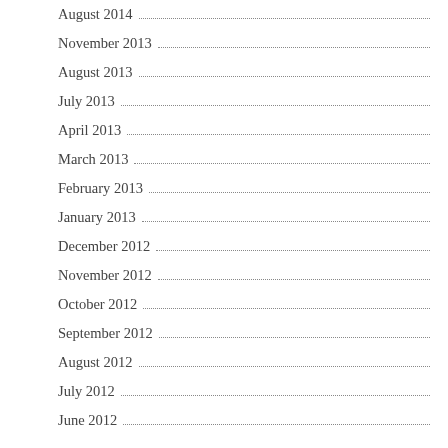August 2014
November 2013
August 2013
July 2013
April 2013
March 2013
February 2013
January 2013
December 2012
November 2012
October 2012
September 2012
August 2012
July 2012
June 2012